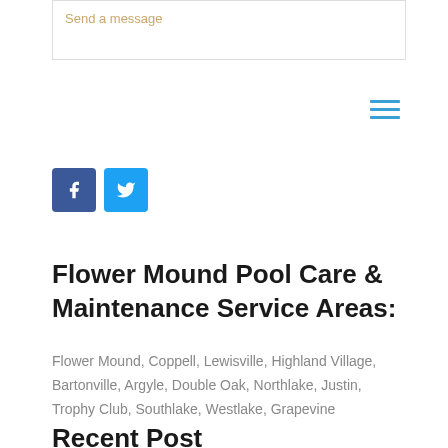Send a message
[Figure (other): Hamburger menu icon with three horizontal lines in blue]
[Figure (other): Social media icons: Facebook (blue square with f) and Twitter (light blue square with bird)]
Flower Mound Pool Care & Maintenance Service Areas:
Flower Mound, Coppell, Lewisville, Highland Village, Bartonville, Argyle, Double Oak, Northlake, Justin, Trophy Club, Southlake, Westlake, Grapevine
Recent Post